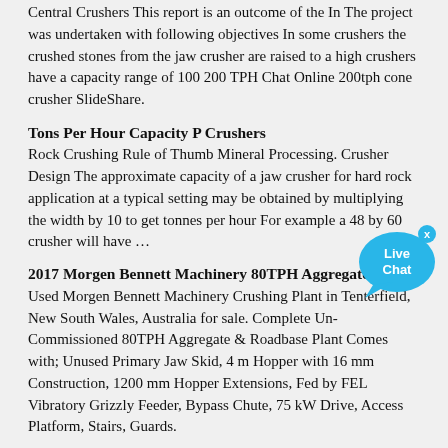Central Crushers This report is an outcome of the In The project was undertaken with following objectives In some crushers the crushed stones from the jaw crusher are raised to a high crushers have a capacity range of 100 200 TPH Chat Online 200tph cone crusher SlideShare.
Tons Per Hour Capacity P Crushers
Rock Crushing Rule of Thumb Mineral Processing. Crusher Design The approximate capacity of a jaw crusher for hard rock application at a typical setting may be obtained by multiplying the width by 10 to get tonnes per hour For example a 48 by 60 crusher will have …
[Figure (illustration): Live Chat speech bubble icon with blue color and an X close button]
2017 Morgen Bennett Machinery 80TPH Aggregate & …
Used Morgen Bennett Machinery Crushing Plant in Tenterfield, New South Wales, Australia for sale. Complete Un-Commissioned 80TPH Aggregate & Roadbase Plant Comes with; Unused Primary Jaw Skid, 4 m Hopper with 16 mm Construction, 1200 mm Hopper Extensions, Fed by FEL Vibratory Grizzly Feeder, Bypass Chute, 75 kW Drive, Access Platform, Stairs, Guards.
best jaw crusher plant an cost in bolivia
2021-7-28 · Stone crushing plant is also called rock crushing plant and stone production line, which is the professional industrial machine to crush sand and stones. It is mainly composed of vibrating feeder, jaw crusher, impact crusher, vibrating screen, belt con, Limonite Ore Processing Plant. The